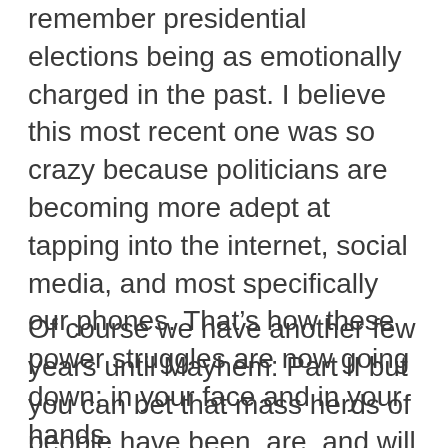remember presidential elections being as emotionally charged in the past. I believe this most recent one was so crazy because politicians are becoming more adept at tapping into the internet, social media, and most specifically our phones. That’s how these power struggles are now going down: in your face and in your hands.
Of course we have another few years until Mayhem: Part II but you can bet that mass herds of people have been, are, and will continue to be influenced by social media under unscrupulous